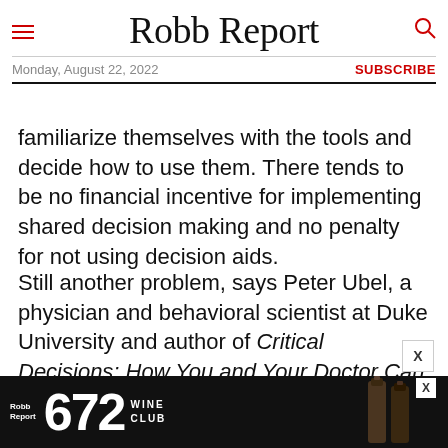Robb Report
Monday, August 22, 2022  SUBSCRIBE
familiarize themselves with the tools and decide how to use them. There tends to be no financial incentive for implementing shared decision making and no penalty for not using decision aids.
Still another problem, says Peter Ubel, a physician and behavioral scientist at Duke University and author of Critical Decisions: How You and Your Doctor Can Make the Right Medical Choices Together, is that programs to increase shared decision making have tended to
[Figure (advertisement): Robb Report 672 Wine Club advertisement banner with wine bottle imagery on black background]